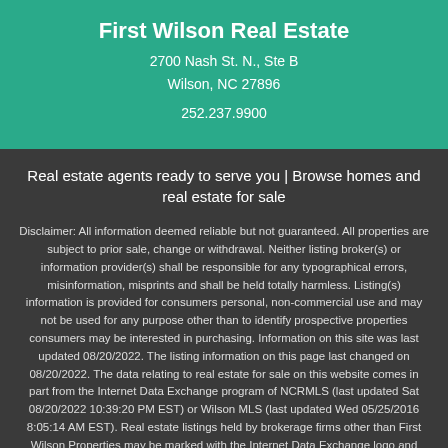First Wilson Real Estate
2700 Nash St. N., Ste B
Wilson, NC 27896
252.237.9900
Real estate agents ready to serve you | Browse homes and real estate for sale
Disclaimer: All information deemed reliable but not guaranteed. All properties are subject to prior sale, change or withdrawal. Neither listing broker(s) or information provider(s) shall be responsible for any typographical errors, misinformation, misprints and shall be held totally harmless. Listing(s) information is provided for consumers personal, non-commercial use and may not be used for any purpose other than to identify prospective properties consumers may be interested in purchasing. Information on this site was last updated 08/20/2022. The listing information on this page last changed on 08/20/2022. The data relating to real estate for sale on this website comes in part from the Internet Data Exchange program of NCRMLS (last updated Sat 08/20/2022 10:39:20 PM EST) or Wilson MLS (last updated Wed 05/25/2016 8:05:14 AM EST). Real estate listings held by brokerage firms other than First Wilson Properties may be marked with the Internet Data Exchange logo and